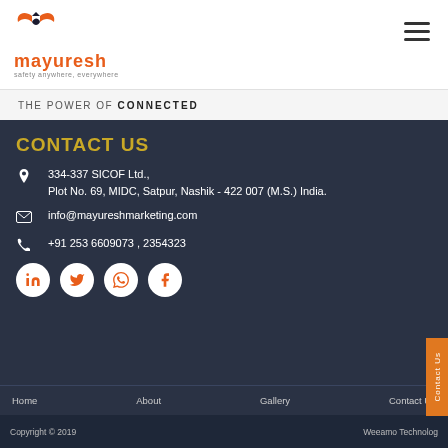[Figure (logo): Mayuresh logo with orange bird/wings icon, company name in orange, tagline 'safety anywhere, everywhere']
THE POWER OF CONNECTED
CONTACT US
334-337 SICOF Ltd., Plot No. 69, MIDC, Satpur, Nashik - 422 007 (M.S.) India.
info@mayureshmarketing.com
+91 253 6609073 , 2354323
[Figure (other): Social media buttons: LinkedIn, Twitter, WhatsApp, Facebook]
Home    About    Gallery    Contact Us
Copyright © 2019    Weeamo Technolog...